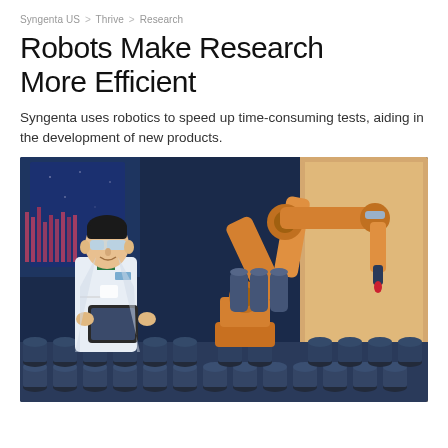Syngenta US > Thrive > Research
Robots Make Research More Efficient
Syngenta uses robotics to speed up time-consuming tests, aiding in the development of new products.
[Figure (illustration): Illustration of a scientist in a white lab coat and safety glasses holding a tablet, standing next to a large orange industrial robotic arm in a laboratory setting. The robot arm is positioned over rows of small cylindrical containers. The background shows laboratory equipment and a nighttime window scene with blue tones.]